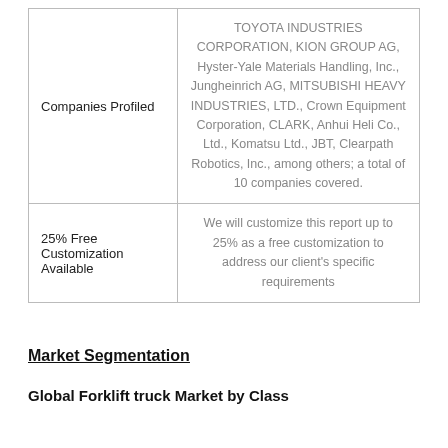|  |  |
| --- | --- |
| Companies Profiled | TOYOTA INDUSTRIES CORPORATION, KION GROUP AG, Hyster-Yale Materials Handling, Inc., Jungheinrich AG, MITSUBISHI HEAVY INDUSTRIES, LTD., Crown Equipment Corporation, CLARK, Anhui Heli Co., Ltd., Komatsu Ltd., JBT, Clearpath Robotics, Inc., among others; a total of 10 companies covered. |
| 25% Free Customization Available | We will customize this report up to 25% as a free customization to address our client's specific requirements |
Market Segmentation
Global Forklift truck Market by Class